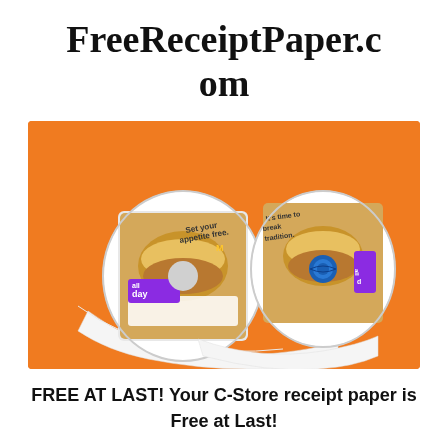FreeReceiptPaper.com
[Figure (photo): Two receipt paper rolls with McDonald's All Day Breakfast branding on an orange background. The rolls show printed receipts with food images and text including 'Set your appetite free.' and 'It's time to break tradition.' One roll has a blue center core.]
FREE AT LAST! Your C-Store receipt paper is Free at Last!